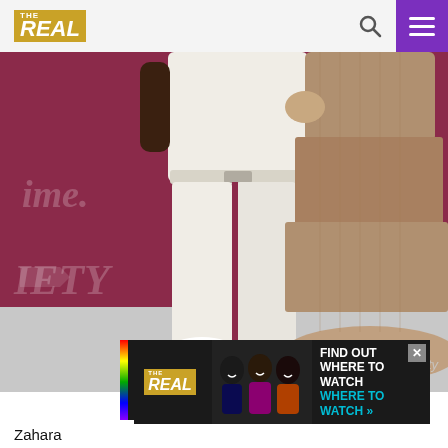THE REAL
[Figure (photo): Two people standing on a step-and-repeat backdrop with Variety and Time logos. Left person wears a white belted wide-leg pantsuit with white sneakers. Right person wears a long tan/camel tiered maxi dress. The background is dark magenta/mauve.]
Getty
[Figure (infographic): Advertisement banner for 'The Real' TV show with colorful stripe, logo, hosts photo, and text 'FIND OUT WHERE TO WATCH »']
Zahara